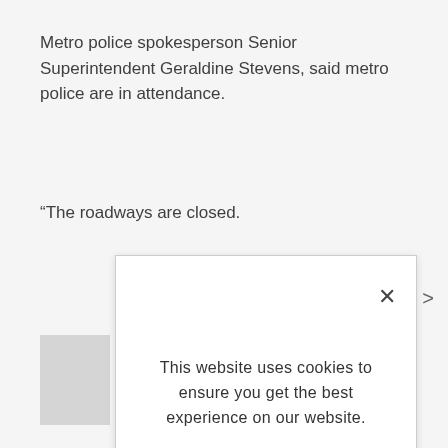Metro police spokesperson Senior Superintendent Geraldine Stevens, said metro police are in attendance.
“The roadways are closed.
[Figure (screenshot): Cookie consent modal dialog overlay on a news website. Contains close button (X), message 'This website uses cookies to ensure you get the best experience on our website.', a 'LEARN MORE.' link in bold, and an 'ACCEPT COOKIES' button in light blue.]